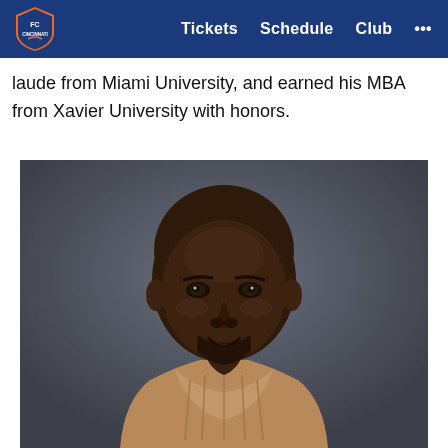FC Cincinnati | Tickets | Schedule | Club | ...
laude from Miami University, and earned his MBA from Xavier University with honors.
[Figure (photo): Professional headshot of a bald Black man with a short beard, wearing a tan/camel colored knit sweater, photographed against a dark gray background, smiling slightly.]